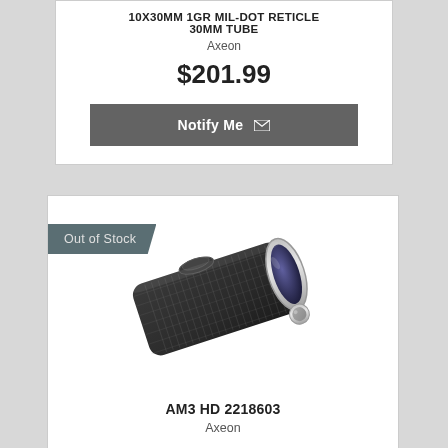10X30MM 1GR MIL-DOT RETICLE 30MM TUBE
Axeon
$201.99
Notify Me
[Figure (photo): Black rangefinder/monocular device (AM3 HD 2218603) by Axeon, angled view showing lens and body]
Out of Stock
AM3 HD 2218603
Axeon